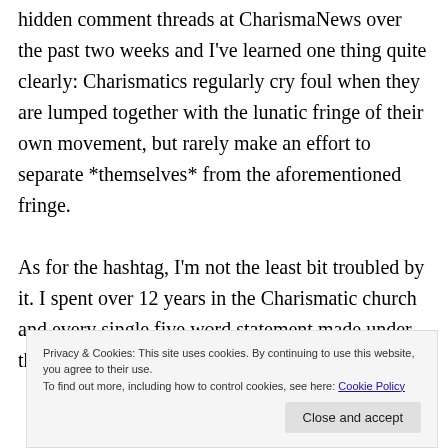hidden comment threads at CharismaNews over the past two weeks and I've learned one thing quite clearly: Charismatics regularly cry foul when they are lumped together with the lunatic fringe of their own movement, but rarely make an effort to separate *themselves* from the aforementioned fringe.

As for the hashtag, I'm not the least bit troubled by it. I spent over 12 years in the Charismatic church and every single five word statement made under that
Privacy & Cookies: This site uses cookies. By continuing to use this website, you agree to their use.
To find out more, including how to control cookies, see here: Cookie Policy